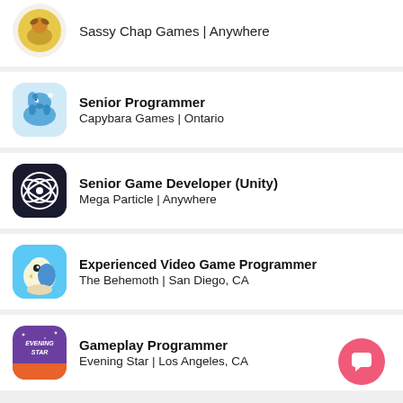Sassy Chap Games | Anywhere
Senior Programmer
Capybara Games | Ontario
Senior Game Developer (Unity)
Mega Particle | Anywhere
Experienced Video Game Programmer
The Behemoth | San Diego, CA
Gameplay Programmer
Evening Star | Los Angeles, CA